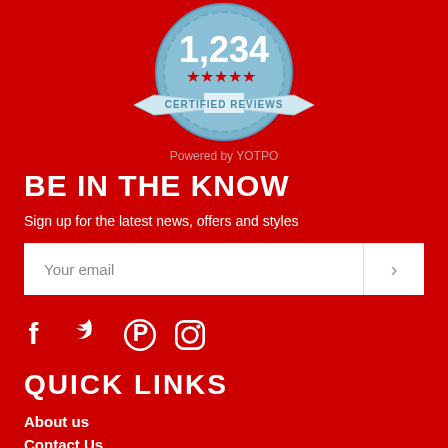[Figure (illustration): Blue badge/seal with '1,234' in large text, five red stars, and 'CERTIFIED REVIEWS' on a ribbon banner]
Powered by YOTPO
BE IN THE KNOW
Sign up for the latest news, offers and styles
[Figure (other): Email signup form with 'Your email' placeholder text and a right-arrow submit button]
[Figure (other): Social media icons: Facebook, Twitter, Pinterest, Instagram]
QUICK LINKS
About us
Contact Us